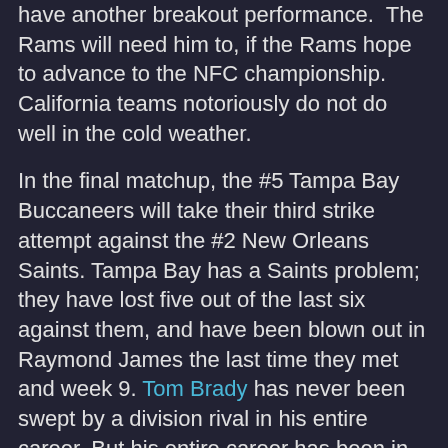have another breakout performance.  The Rams will need him to, if the Rams hope to advance to the NFC championship. California teams notoriously do not do well in the cold weather.
In the final matchup, the #5 Tampa Bay Buccaneers will take their third strike attempt against the #2 New Orleans Saints. Tampa Bay has a Saints problem; they have lost five out of the last six against them, and have been blown out in Raymond James the last time they met and week 9. Tom Brady has never been swept by a division rival in his entire career. But his entire career has been in the AFC East. He has come to find out the hard way that the NFC South is a little bit different, and quite more difficult. On the opposite side of the coin, the number two seed normal in Saints realized that this is their last chance for a Super Bowl championship. Drew Brees has been a mainstay for this team, but